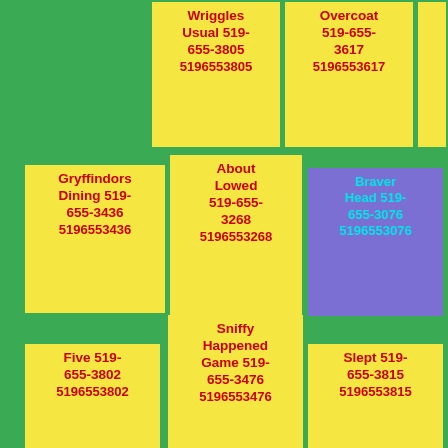Wriggles Usual 519-655-3805 5196553805
Overcoat 519-655-3617 5196553617
Hedges 519-655-3549 5196553549
Gryffindors Dining 519-655-3436 5196553436
About Lowed 519-655-3268 5196553268
Braver Head 519-655-3076 5196553076
Five 519-655-3802 5196553802
Sniffy Happened Game 519-655-3476 5196553476
Slept 519-655-3815 5196553815
Trembling Hushed 519-655-
Heartstrings Everyones 519-655-
Train Ceremony Started 519-655-